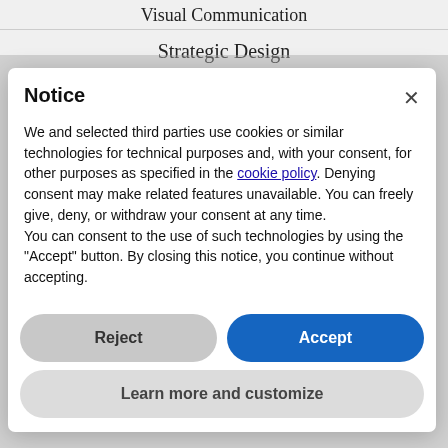Visual Communication
Strategic Design
Notice
We and selected third parties use cookies or similar technologies for technical purposes and, with your consent, for other purposes as specified in the cookie policy. Denying consent may make related features unavailable. You can freely give, deny, or withdraw your consent at any time.
You can consent to the use of such technologies by using the "Accept" button. By closing this notice, you continue without accepting.
Reject
Accept
Learn more and customize